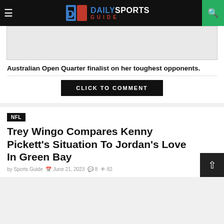Daily Sports Guide
[Figure (other): Blank/placeholder image area for an article]
Australian Open Quarter finalist on her toughest opponents.
CLICK TO COMMENT
NFL
Trey Wingo Compares Kenny Pickett's Situation To Jordan's Love In Green Bay
by Sports Guide   June 21, 2023   8   82